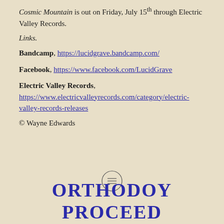Cosmic Mountain is out on Friday, July 15th through Electric Valley Records.
Links.
Bandcamp, https://lucidgrave.bandcamp.com/
Facebook, https://www.facebook.com/LucidGrave
Electric Valley Records, https://www.electricvalleyrecords.com/category/electric-valley-records-releases
© Wayne Edwards
[Figure (illustration): Small circular icon with horizontal lines (menu/text icon)]
ORTHODOY PROCEED